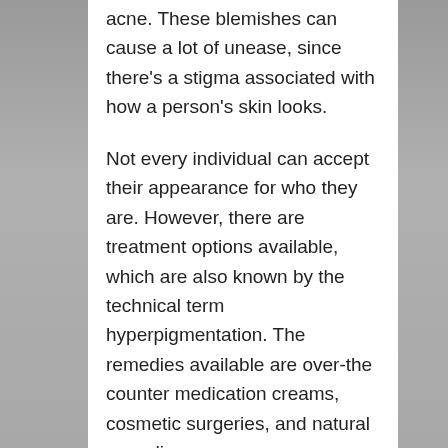acne. These blemishes can cause a lot of unease, since there's a stigma associated with how a person's skin looks.
Not every individual can accept their appearance for who they are. However, there are treatment options available, which are also known by the technical term hyperpigmentation. The remedies available are over-the counter medication creams, cosmetic surgeries, and natural remedies.
Home remedies
Why spend money, when you have natural